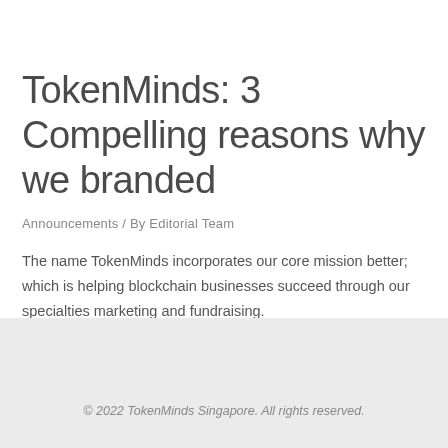TokenMinds: 3 Compelling reasons why we branded
Announcements / By Editorial Team
The name TokenMinds incorporates our core mission better; which is helping blockchain businesses succeed through our specialties marketing and fundraising.
© 2022 TokenMinds Singapore. All rights reserved.